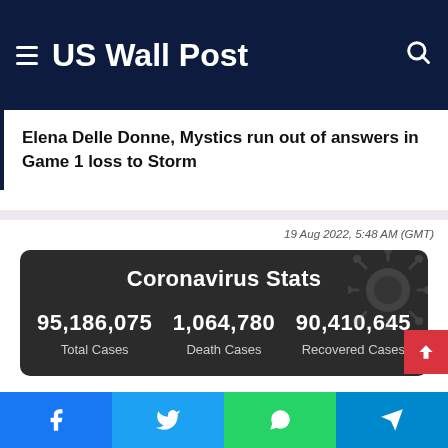US Wall Post
Elena Delle Donne, Mystics run out of answers in Game 1 loss to Storm
19 Aug 2022, 5:48 AM (GMT)
[Figure (infographic): Coronavirus Stats dark box showing Total Cases: 95,186,075; Death Cases: 1,064,780; Recovered Cases: 90,410,645]